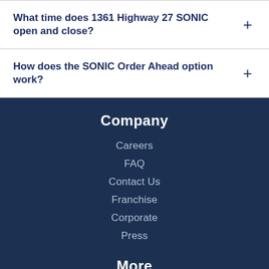What time does 1361 Highway 27 SONIC open and close?
How does the SONIC Order Ahead option work?
Company
Careers
FAQ
Contact Us
Franchise
Corporate
Press
More